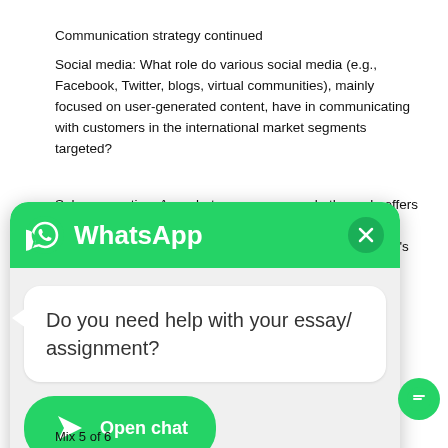Communication strategy continued
Social media: What role do various social media (e.g., Facebook, Twitter, blogs, virtual communities), mainly focused on user-generated content, have in communicating with customers in the international market segments targeted?
Sales promotion: Are rebates, coupons, and other sale offers a widespread activity to motivate customers in the international market segments targeted to buy a company's products?
[Figure (screenshot): WhatsApp chat widget overlay showing 'Do you need help with your essay/assignment?' message with an 'Open chat' button]
Mix 5 of 6